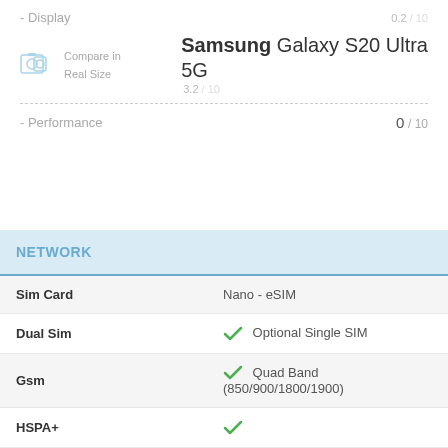- Display
0.2 / 10
Samsung Galaxy S20 Ultra 5G
Compare in Real Size
3.2 / 10
- Performance
0 / 10
NETWORK
|  |  |
| --- | --- |
| Sim Card | Nano - eSIM |
| Dual Sim | ✓ Optional Single SIM |
| Gsm | ✓ Quad Band (850/900/1800/1900) |
| HSPA+ | ✓ |
| LTE | ✓ |
| 5G | ✓ |
| Max. Download Speed | 7500 Mbps |